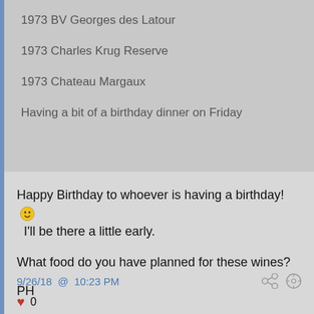1973 BV Georges des Latour
1973 Charles Krug Reserve
1973 Chateau Margaux
Having a bit of a birthday dinner on Friday
Happy Birthday to whoever is having a birthday! 🙂 I'll be there a little early.
What food do you have planned for these wines?
PH
9/26/18 @ 10:23 PM
♥ 0